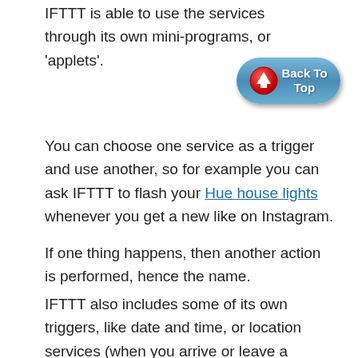IFTTT is able to use the services through its own mini-programs, or 'applets'.
[Figure (other): Back To Top navigation button with blue pill shape, red circle icon with up arrow, white bold text 'Back To Top']
You can choose one service as a trigger and use another, so for example you can ask IFTTT to flash your Hue house lights whenever you get a new like on Instagram.
If one thing happens, then another action is performed, hence the name.
IFTTT also includes some of its own triggers, like date and time, or location services (when you arrive or leave a defined area).